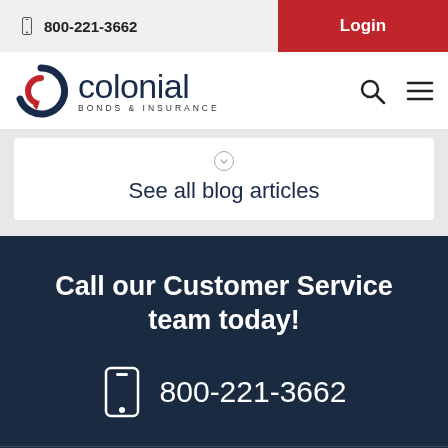800-221-3662  |  Login
[Figure (logo): Colonial Bonds & Insurance logo with circular arrow icon]
See all blog articles
Call our Customer Service team today!
800-221-3662